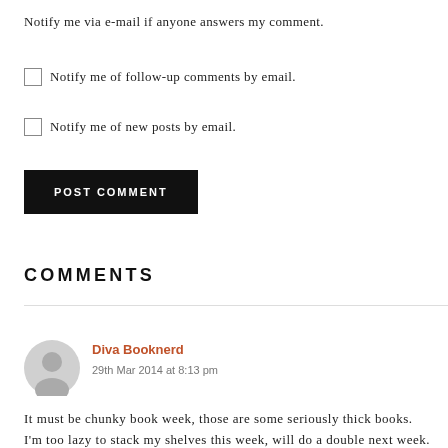Notify me via e-mail if anyone answers my comment.
Notify me of follow-up comments by email.
Notify me of new posts by email.
POST COMMENT
COMMENTS
Diva Booknerd
29th Mar 2014 at 8:13 pm
It must be chunky book week, those are some seriously thick books. I'm too lazy to stack my shelves this week, will do a double next week. I shall sit on my ass and